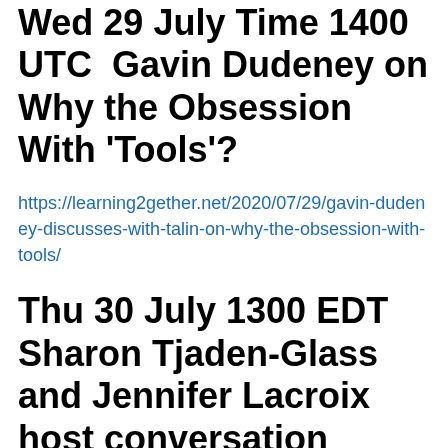Wed 29 July Time 1400 UTC   Gavin Dudeney on Why the Obsession With 'Tools'?
https://learning2gether.net/2020/07/29/gavin-dudeney-discusses-with-talin-on-why-the-obsession-with-tools/
Thu 30 July 1300 EDT Sharon Tjaden-Glass and Jennifer Lacroix host conversation about listening and intercultural competence in the